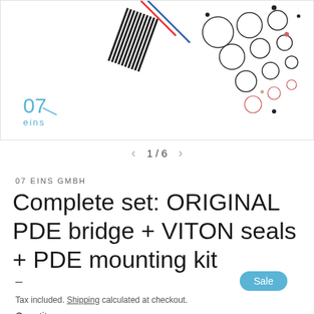[Figure (photo): Product image showing components: striped pins/connectors, o-rings/seals in various sizes, and other small parts on a white background. Logo '07 eins' visible in the lower-left corner.]
1 / 6
07 EINS GMBH
Complete set: ORIGINAL PDE bridge + VITON seals + PDE mounting kit
- Sale
Tax included. Shipping calculated at checkout.
Quantity